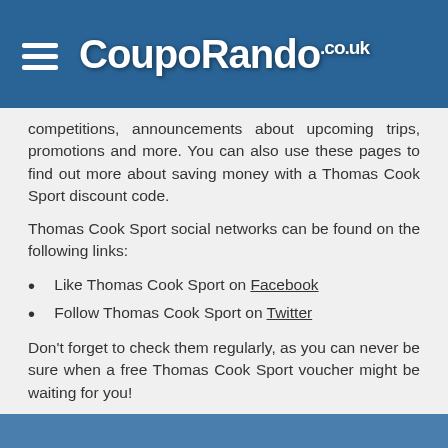CoupoRando.co.uk
competitions, announcements about upcoming trips, promotions and more. You can also use these pages to find out more about saving money with a Thomas Cook Sport discount code.
Thomas Cook Sport social networks can be found on the following links:
Like Thomas Cook Sport on Facebook
Follow Thomas Cook Sport on Twitter
Don't forget to check them regularly, as you can never be sure when a free Thomas Cook Sport voucher might be waiting for you!
This site uses cookies. By continuing to browse the site you are agreeing to our use of cookies. Close | Read more